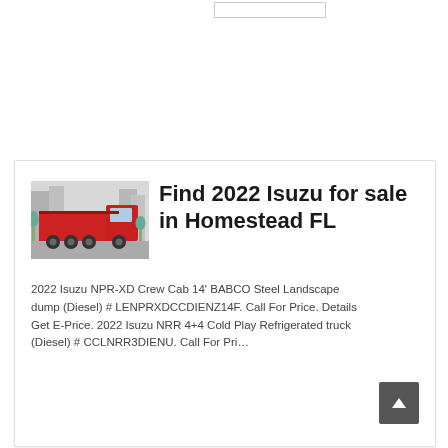[Figure (screenshot): Search box input field at top of page]
[Figure (photo): Red dump truck (Isuzu) parked on road with buildings in background]
Find 2022 Isuzu for sale in Homestead FL
2022 Isuzu NPR-XD Crew Cab 14' BABCO Steel Landscape dump (Diesel) # LENPRXDCCDIENZ14F. Call For Price. Details Get E-Price. 2022 Isuzu NRR 4+4 Cold Play Refrigerated truck (Diesel) # CCLNRR3DIENU. Call For Price.